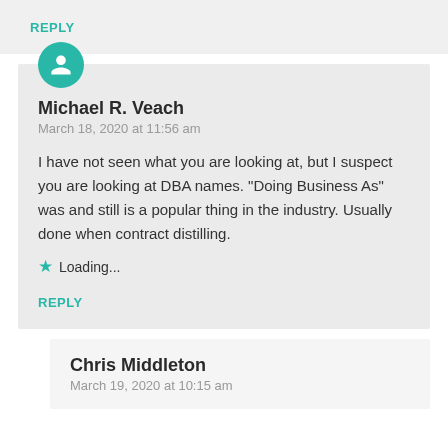REPLY
Michael R. Veach
March 18, 2020 at 11:56 am
I have not seen what you are looking at, but I suspect you are looking at DBA names. "Doing Business As" was and still is a popular thing in the industry. Usually done when contract distilling.
Loading...
REPLY
Chris Middleton
March 19, 2020 at 10:15 am